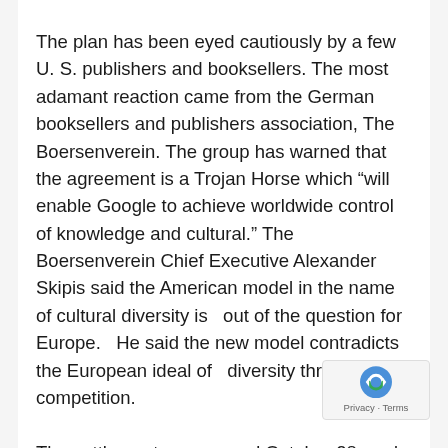The plan has been eyed cautiously by a few U. S. publishers and booksellers. The most adamant reaction came from the German booksellers and publishers association, The Boersenverein. The group has warned that the agreement is a Trojan Horse which “will enable Google to achieve worldwide control of knowledge and cultural.” The Boersenverein Chief Executive Alexander Skipis said the American model in the name of cultural diversity is   out of the question for Europe.   He said the new model contradicts   the European ideal of   diversity through competition.
The settlement, announced October 28, and now pending the approval of U.S. District Court for the Southern District of New York, would greatly expand the amount of copyrighted material that Google can display online for free. Instead of the brief snippets from in-copyright works currently displayed by Google,